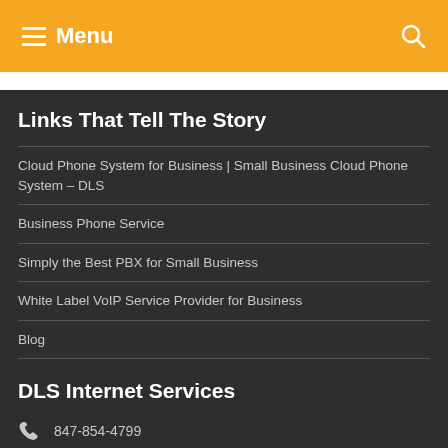Menu
Links That Tell The Story
Cloud Phone System for Business | Small Business Cloud Phone System – DLS
Business Phone Service
Simply the Best PBX for Small Business
White Label VoIP Service Provider for Business
Blog
DLS Internet Services
847-854-4799
sales@dls.net